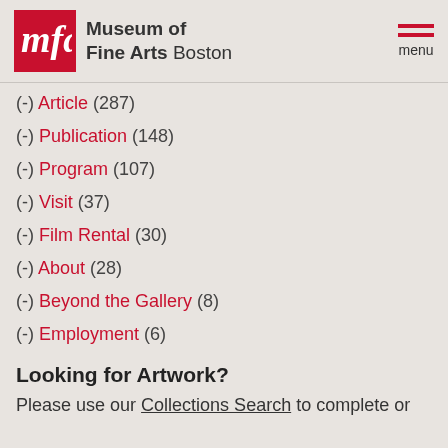Museum of Fine Arts Boston
(-) Article (287)
(-) Publication (148)
(-) Program (107)
(-) Visit (37)
(-) Film Rental (30)
(-) About (28)
(-) Beyond the Gallery (8)
(-) Employment (6)
Looking for Artwork?
Please use our Collections Search to complete or